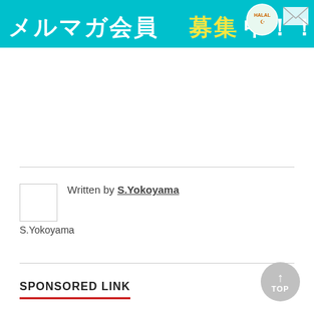[Figure (illustration): Teal/cyan banner with Japanese text reading メルマガ会員募集中!! (Newsletter member recruitment!) with yellow highlighted characters 募集, a HALAL circular badge, and an envelope icon on the right.]
Written by S.Yokoyama
S.Yokoyama
SPONSORED LINK